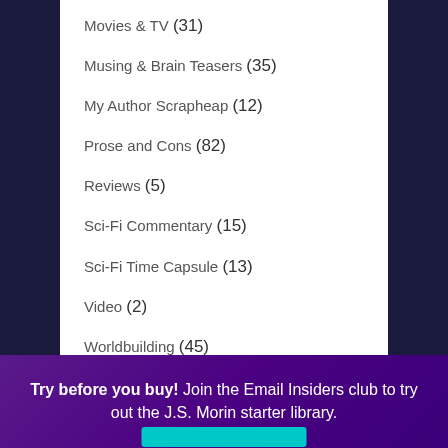Movies & TV (31)
Musing & Brain Teasers (35)
My Author Scrapheap (12)
Prose and Cons (82)
Reviews (5)
Sci-Fi Commentary (15)
Sci-Fi Time Capsule (13)
Video (2)
Worldbuilding (45)
Writing inspiration (3)
Try before you buy! Join the Email Insiders club to try out the J.S. Morin starter library.